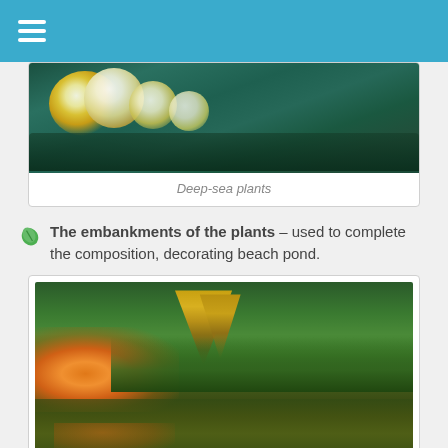[Figure (photo): Close-up photo of white water lily flowers on dark green lily pads]
Deep-sea plants
The embankments of the plants – used to complete the composition, decorating beach pond.
[Figure (photo): Garden pond with colorful embankment plants including orange flowers, tall yellow spikes, and lush green foliage reflected in the water]